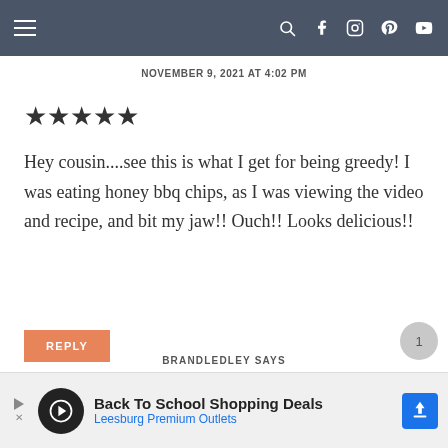Navigation bar with hamburger menu and social icons
NOVEMBER 9, 2021 AT 4:02 PM
★★★★★
Hey cousin....see this is what I get for being greedy! I was eating honey bbq chips, as I was viewing the video and recipe, and bit my jaw!! Ouch!! Looks delicious!!
REPLY
BRANDLEDLEY SAYS
Back To School Shopping Deals
Leesburg Premium Outlets